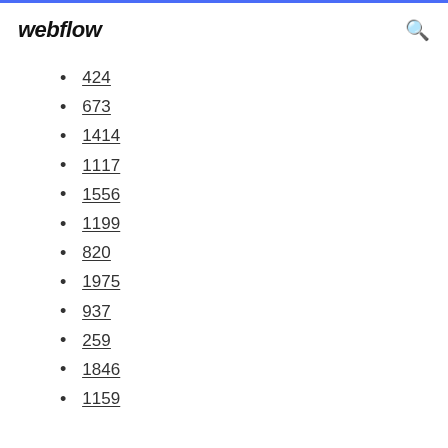webflow
424
673
1414
1117
1556
1199
820
1975
937
259
1846
1159